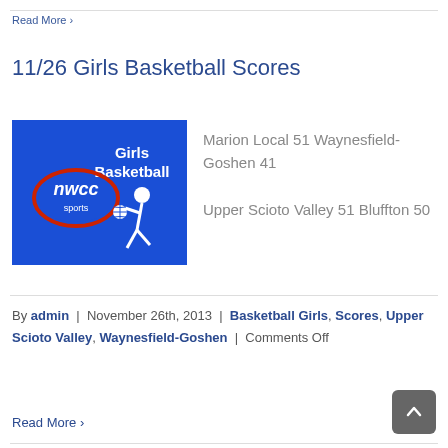Read More ›
11/26 Girls Basketball Scores
[Figure (logo): NWCC Sports Girls Basketball logo — blue background with white text 'Girls Basketball', an NWCC sports oval logo in red/white, and a white silhouette of a basketball player]
Marion Local 51 Waynesfield-Goshen 41
Upper Scioto Valley 51 Bluffton 50
By admin | November 26th, 2013 | Basketball Girls, Scores, Upper Scioto Valley, Waynesfield-Goshen | Comments Off
Read More ›